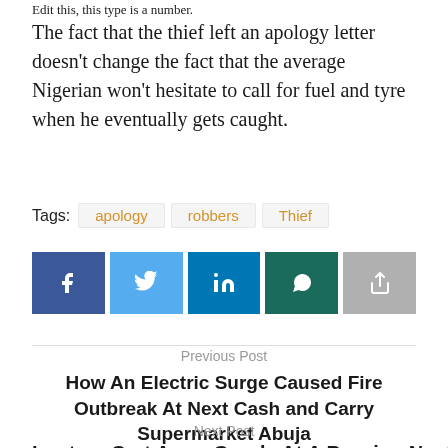Edit this, this type is a number.
The fact that the thief left an apology letter doesn't change the fact that the average Nigerian won't hesitate to call for fuel and tyre when he eventually gets caught.
Tags: apology   robbers   Thief
[Figure (other): Social share buttons: Facebook, Twitter, LinkedIn, WhatsApp, Share]
Previous Post
How An Electric Surge Caused Fire Outbreak At Next Cash and Carry Supermarket Abuja
Next Post
Looters Cart Away Goods At A Burning Next Cash